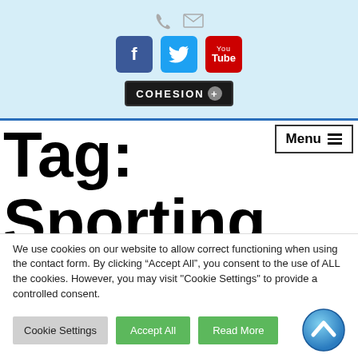[Figure (screenshot): Website header with light blue background containing phone and mail icons, Facebook, Twitter, YouTube social media buttons, and a COHESION+ logo]
Tag: Sporting Khalsa
[Figure (illustration): Menu button with hamburger icon lines in top right corner]
We use cookies on our website to allow correct functioning when using the contact form. By clicking “Accept All”, you consent to the use of ALL the cookies. However, you may visit "Cookie Settings" to provide a controlled consent.
[Figure (illustration): Cookie Settings, Accept All, and Read More buttons plus a blue circular scroll-to-top button with up arrow]